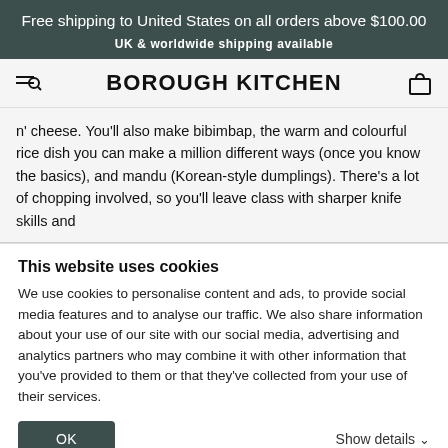Free shipping to United States on all orders above $100.00
UK & worldwide shipping available
BOROUGH KITCHEN
n' cheese. You'll also make bibimbap, the warm and colourful rice dish you can make a million different ways (once you know the basics), and mandu (Korean-style dumplings). There's a lot of chopping involved, so you'll leave class with sharper knife skills and
This website uses cookies
We use cookies to personalise content and ads, to provide social media features and to analyse our traffic. We also share information about your use of our site with our social media, advertising and analytics partners who may combine it with other information that you've provided to them or that they've collected from your use of their services.
OK
Show details